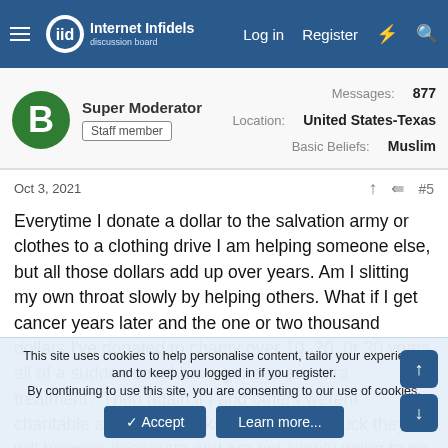Internet Infidels — Log in   Register
Super Moderator
Staff member
Messages: 877
Location: United States-Texas
Basic Beliefs: Muslim
Oct 3, 2021   #5
Everytime I donate a dollar to the salvation army or clothes to a clothing drive I am helping someone else, but all those dollars add up over years. Am I slitting my own throat slowly by helping others. What if I get cancer years later and the one or two thousand dollars I've donated to charity over 10, 20, 0r 30 years all of a sudden could have gone to an extra treatment? Then again if I and others werent charitable and helped folks down on their luck they will become desperate and are not simply going to go die in a ditch conveniently. They will still or kill to try to live, and oh for Id the idea go follow a commie or fascist and help
This site uses cookies to help personalise content, tailor your experience and to keep you logged in if you register.
By continuing to use this site, you are consenting to our use of cookies.
✓ Accept   Learn more...